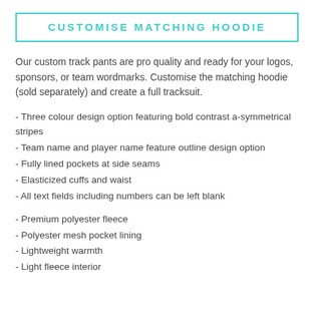CUSTOMISE MATCHING HOODIE
Our custom track pants are pro quality and ready for your logos, sponsors, or team wordmarks. Customise the matching hoodie (sold separately) and create a full tracksuit.
- Three colour design option featuring bold contrast a-symmetrical stripes
- Team name and player name feature outline design option
- Fully lined pockets at side seams
- Elasticized cuffs and waist
- All text fields including numbers can be left blank
- Premium polyester fleece
- Polyester mesh pocket lining
- Lightweight warmth
- Light fleece interior